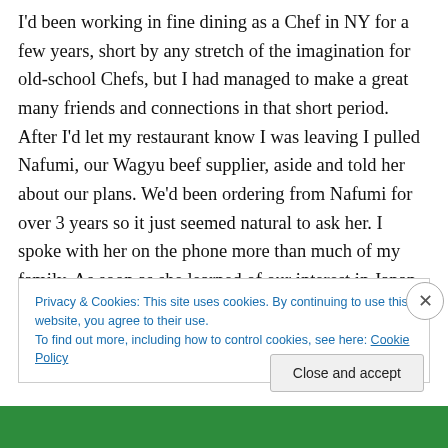I'd been working in fine dining as a Chef in NY for a few years, short by any stretch of the imagination for old-school Chefs, but I had managed to make a great many friends and connections in that short period. After I'd let my restaurant know I was leaving I pulled Nafumi, our Wagyu beef supplier, aside and told her about our plans. We'd been ordering from Nafumi for over 3 years so it just seemed natural to ask her. I spoke with her on the phone more than much of my family. As soon as she learned of our interest in Japan and our supposed itinerary she insisted that we come over for dinner and discuss how she
Privacy & Cookies: This site uses cookies. By continuing to use this website, you agree to their use.
To find out more, including how to control cookies, see here: Cookie Policy
Close and accept